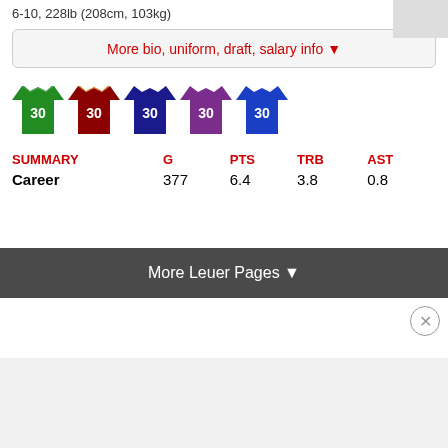6-10, 228lb (208cm, 103kg)
More bio, uniform, draft, salary info ▼
[Figure (illustration): Five basketball jerseys numbered 30 in colors: green, dark red/maroon, navy blue, purple, blue]
| SUMMARY | G | PTS | TRB | AST |
| --- | --- | --- | --- | --- |
| Career | 377 | 6.4 | 3.8 | 0.8 |
More Leuer Pages ▼